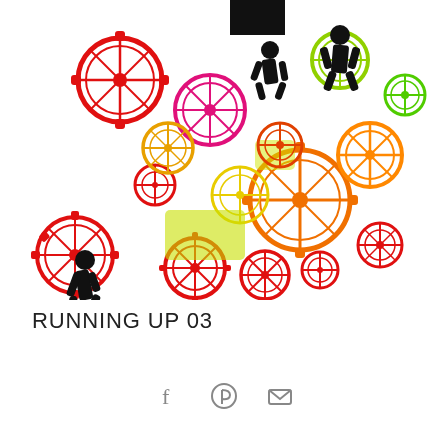[Figure (illustration): Colorful gear/cog artwork with black silhouettes of running people interspersed among red, orange, yellow, green, and pink gears of various sizes on a white background.]
RUNNING UP 03
[Figure (infographic): Social sharing icons row: Facebook (f), Pinterest (P pin), and email (envelope) icons in gray.]